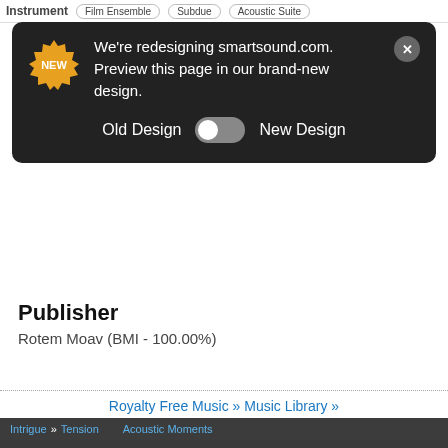[Figure (screenshot): Website redesign notification banner on dark background with NEW badge, text about redesigning smartsound.com, and Old Design/New Design toggle switch]
Publisher
Rotem Moav (BMI - 100.00%)
Royalty Free Music » Music Library »
Our website uses cookies to improve your user experience. If you continue browsing, we assume that you consent to our use of cookies. More information can be found in our Privacy Policy.